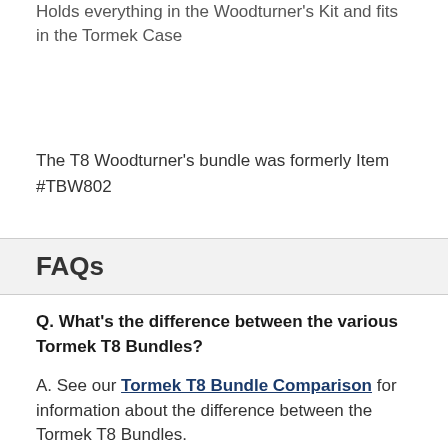Holds everything in the Woodturner's Kit and fits in the Tormek Case
The T8 Woodturner's bundle was formerly Item #TBW802
FAQs
Q. What's the difference between the various Tormek T8 Bundles?
A. See our Tormek T8 Bundle Comparison for information about the difference between the Tormek T8 Bundles.
Q. What is the difference between the T4 and the T8?
A. Everyone wants to know which model they should purchase. This chart makes the comparison between